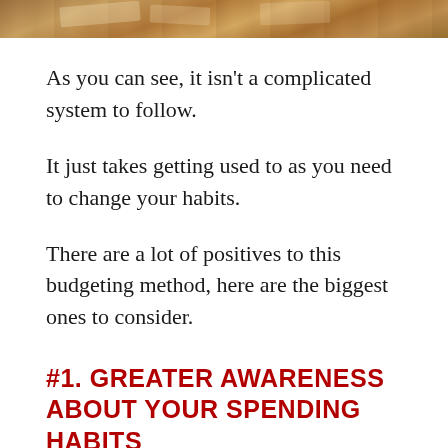[Figure (photo): Partial photo of wooden surface or table, cropped at top of page]
As you can see, it isn't a complicated system to follow.
It just takes getting used to as you need to change your habits.
There are a lot of positives to this budgeting method, here are the biggest ones to consider.
#1. GREATER AWARENESS ABOUT YOUR SPENDING HABITS
When you're using credit and debit cards